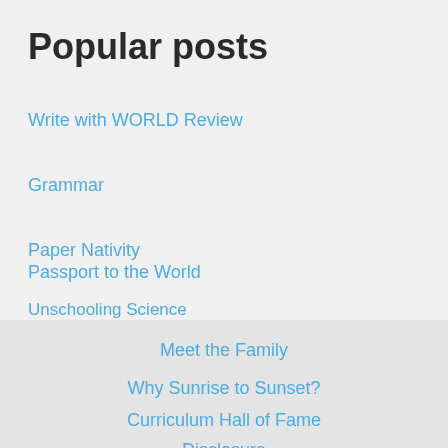Popular posts
Write with WORLD Review
Grammar
Paper Nativity
Passport to the World
Unschooling Science
Meet the Family
Why Sunrise to Sunset?
Curriculum Hall of Fame
Disclosure